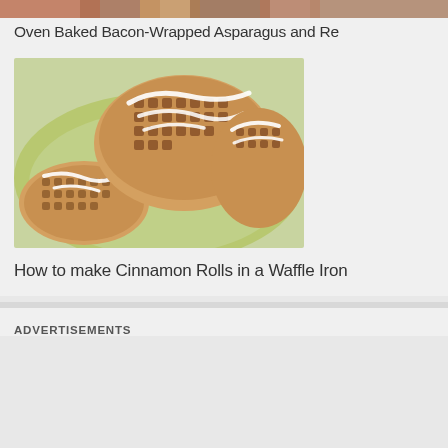[Figure (photo): Partial top strip showing food photo (Oven Baked Bacon-Wrapped Asparagus)]
Oven Baked Bacon-Wrapped Asparagus and Re
[Figure (photo): Close-up photo of cinnamon rolls made in a waffle iron on a green plate, drizzled with white icing]
How to make Cinnamon Rolls in a Waffle Iron
ADVERTISEMENTS